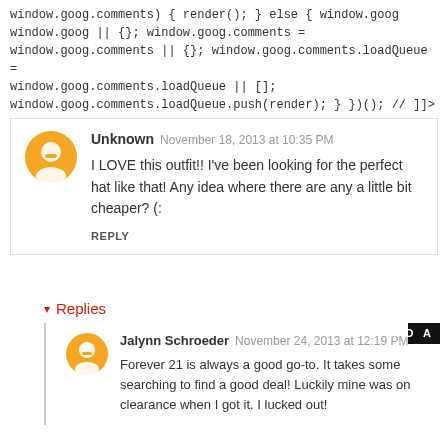window.goog.comments) { render(); } else { window.goog window.goog || {}; window.goog.comments = window.goog.comments || {}; window.goog.comments.loadQueue = window.goog.comments.loadQueue || []; window.goog.comments.loadQueue.push(render); } })(); // ]]>
Unknown  November 18, 2013 at 10:35 PM
I LOVE this outfit!! I've been looking for the perfect hat like that! Any idea where there are any a little bit cheaper? (:
REPLY
Replies
Jalynn Schroeder  November 24, 2013 at 12:19 PM
Forever 21 is always a good go-to. It takes some searching to find a good deal! Luckily mine was on clearance when I got it. I lucked out!